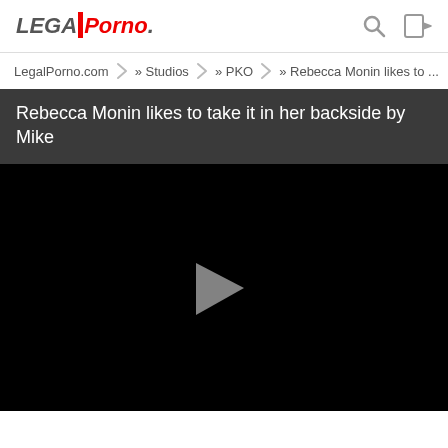LegalPorno
LegalPorno.com » Studios » PKO » Rebecca Monin likes to ...
Rebecca Monin likes to take it in her backside by Mike
[Figure (screenshot): Black video player with a grey play button in the center]